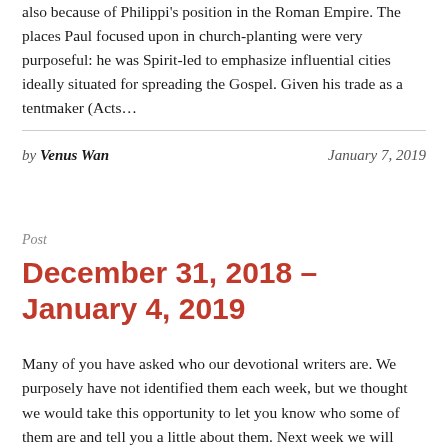also because of Philippi's position in the Roman Empire. The places Paul focused upon in church-planting were very purposeful: he was Spirit-led to emphasize influential cities ideally situated for spreading the Gospel. Given his trade as a tentmaker (Acts…
by Venus Wan	January 7, 2019
Post
December 31, 2018 – January 4, 2019
Many of you have asked who our devotional writers are. We purposely have not identified them each week, but we thought we would take this opportunity to let you know who some of them are and tell you a little about them. Next week we will again be publishing our normal devotional that leads up…